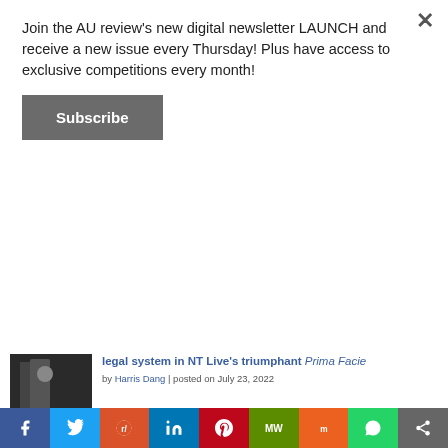Join the AU review's new digital newsletter LAUNCH and receive a new issue every Thursday! Plus have access to exclusive competitions every month!
Subscribe
legal system in NT Live's triumphant Prima Facie
by Harris Dang | posted on July 23, 2022
7 Things You Should Know Before Starting Genshin Impact
by Samantha Low | posted on September 27, 2021
TV Blu-Ray Review: Vikings Season 3 (Canada, 2015)
by Maria Nayef | posted on October 21, 2015